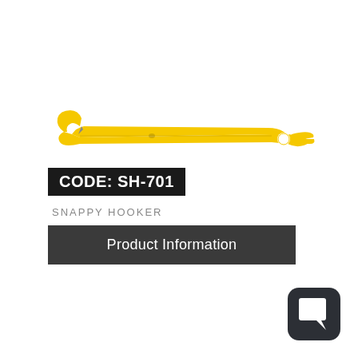[Figure (photo): A yellow plastic Snappy Hooker tool, elongated with a hook at one end and a circular hole at the other, photographed on a white background.]
CODE: SH-701
SNAPPY HOOKER
Product Information
[Figure (logo): Dark rounded square logo with a white chat bubble / square speech icon inside.]